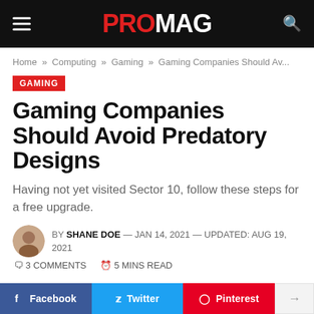PROMAG
Home » Computing » Gaming » Gaming Companies Should Av...
GAMING
Gaming Companies Should Avoid Predatory Designs
Having not yet visited Sector 10, follow these steps for a free upgrade.
BY SHANE DOE — JAN 14, 2021 — UPDATED: AUG 19, 2021
3 COMMENTS   5 MINS READ
Facebook  Twitter  Pinterest